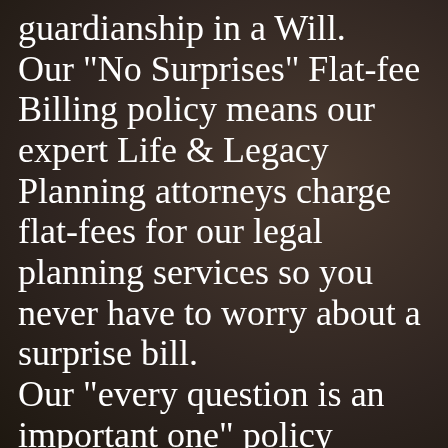guardianship in a Will. Our "No Surprises" Flat-fee Billing policy means our expert Life & Legacy Planning attorneys charge flat-fees for our legal planning services so you never have to worry about a surprise bill. Our "every question is an important one" policy encourages Communication from our clients. It is important to us to know that you know what your estate plan does! Something more...